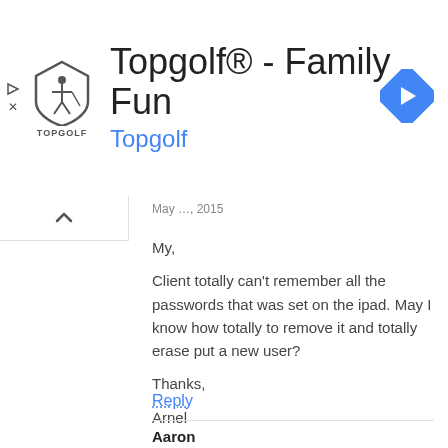[Figure (logo): Topgolf advertisement banner with logo, title 'Topgolf® - Family Fun', subtitle 'Topgolf', and navigation arrow icon]
My,

Client totally can't remember all the passwords that was set on the ipad. May I know how totally to remove it and totally erase put a new user?

Thanks,

Arnel
Reply
Aaron
May 4, 2015
Nice article but when I go to iTunes under settings, the iPad will not let me select the Apple ID to change it. I'm extremely frustrated. How do I fix this problem?
Reply